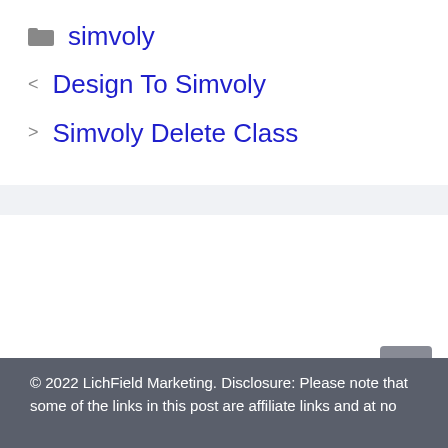simvoly
Design To Simvoly
Simvoly Delete Class
© 2022 LichField Marketing. Disclosure: Please note that some of the links in this post are affiliate links and at no